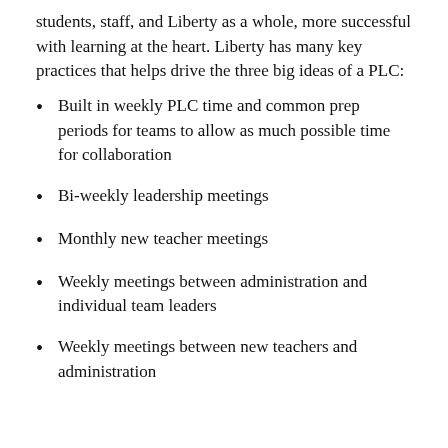students, staff, and Liberty as a whole, more successful with learning at the heart. Liberty has many key practices that helps drive the three big ideas of a PLC:
Built in weekly PLC time and common prep periods for teams to allow as much possible time for collaboration
Bi-weekly leadership meetings
Monthly new teacher meetings
Weekly meetings between administration and individual team leaders
Weekly meetings between new teachers and administration